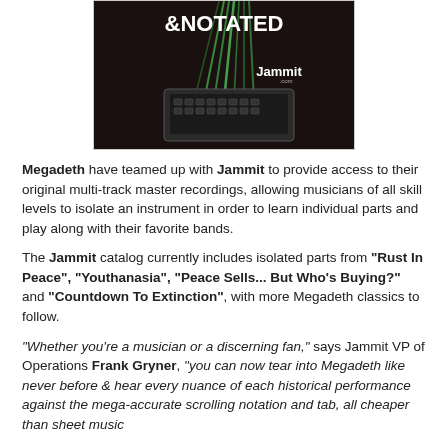[Figure (illustration): Jammit advertisement banner with dark background showing a tablet/keyboard with green cables, text '&NOTATED' and 'Jammit.com' logo]
Megadeth have teamed up with Jammit to provide access to their original multi-track master recordings, allowing musicians of all skill levels to isolate an instrument in order to learn individual parts and play along with their favorite bands.
The Jammit catalog currently includes isolated parts from "Rust In Peace", "Youthanasia", "Peace Sells... But Who's Buying?" and "Countdown To Extinction", with more Megadeth classics to follow.
"Whether you're a musician or a discerning fan," says Jammit VP of Operations Frank Gryner, "you can now tear into Megadeth like never before & hear every nuance of each historical performance against the mega-accurate scrolling notation and tab, all cheaper than sheet music